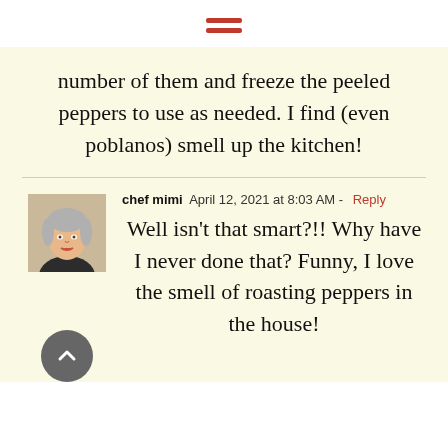[Figure (other): Hamburger menu icon — three horizontal red bars]
number of them and freeze the peeled peppers to use as needed. I find (even poblanos) smell up the kitchen!
chef mimi  April 12, 2021 at 8:03 AM · Reply
[Figure (photo): Profile photo of chef mimi — woman with short grey hair and red lipstick]
Well isn't that smart?!! Why have I never done that? Funny, I love the smell of roasting peppers in the house!
[Figure (other): Back to top button — dark grey circle with upward chevron]